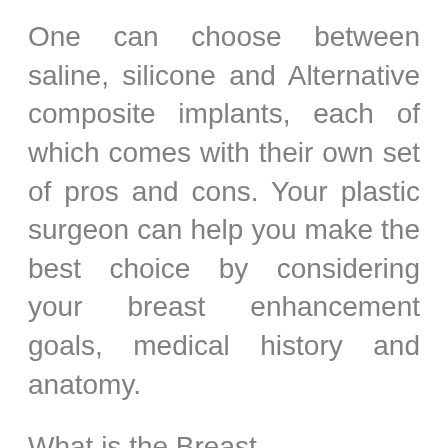One can choose between saline, silicone and Alternative composite implants, each of which comes with their own set of pros and cons. Your plastic surgeon can help you make the best choice by considering your breast enhancement goals, medical history and anatomy.
What is the Breast Augmentation Procedure?
Breast augmentation procedure is typically performed using general